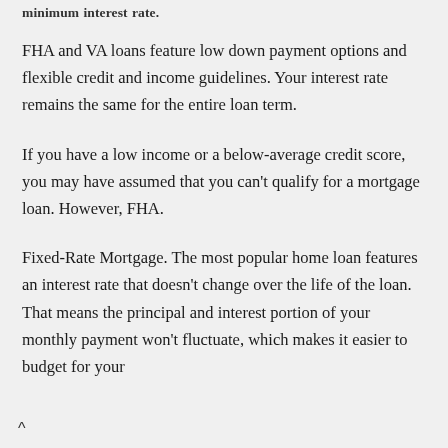minimum interest rate.
FHA and VA loans feature low down payment options and flexible credit and income guidelines. Your interest rate remains the same for the entire loan term.
If you have a low income or a below-average credit score, you may have assumed that you can't qualify for a mortgage loan. However, FHA.
Fixed-Rate Mortgage. The most popular home loan features an interest rate that doesn't change over the life of the loan. That means the principal and interest portion of your monthly payment won't fluctuate, which makes it easier to budget for your